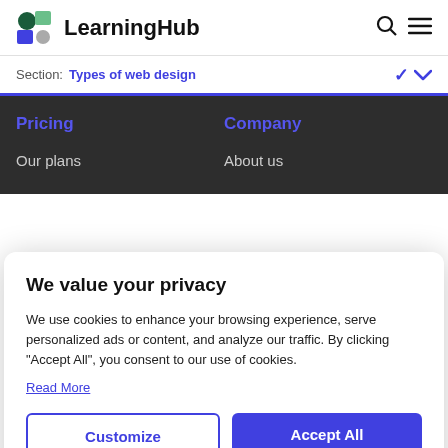LearningHub
Section: Types of web design
Pricing
Company
Our plans
About us
We value your privacy
We use cookies to enhance your browsing experience, serve personalized ads or content, and analyze our traffic. By clicking "Accept All", you consent to our use of cookies.
Read More
Customize
Accept All